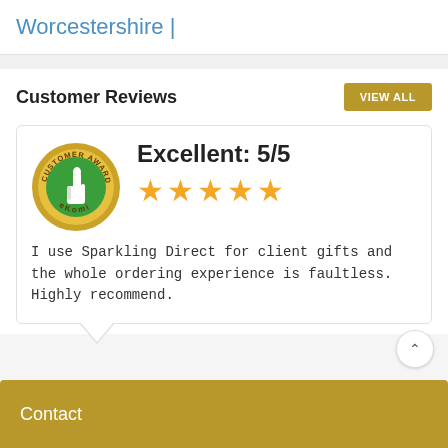Worcestershire |
Customer Reviews
[Figure (logo): eKomi Customer Award badge — circular gold border with green centre, thumbs-up icon, text 'CUSTOMER AWARD' and 'eKomi']
Excellent: 5/5
★★★★★
I use Sparkling Direct for client gifts and the whole ordering experience is faultless. Highly recommend.
Contact